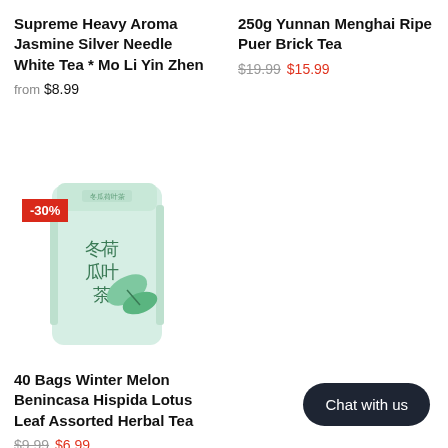Supreme Heavy Aroma Jasmine Silver Needle White Tea * Mo Li Yin Zhen
from $8.99
250g Yunnan Menghai Ripe Puer Brick Tea
$19.99 $15.99
[Figure (photo): A light green tea bag product with Chinese characters 冬瓜荷叶茶 and leaf illustration, with a red -30% discount badge in the top-left corner]
40 Bags Winter Melon Benincasa Hispida Lotus Leaf Assorted Herbal Tea
$9.99 $6.99
Chat with us